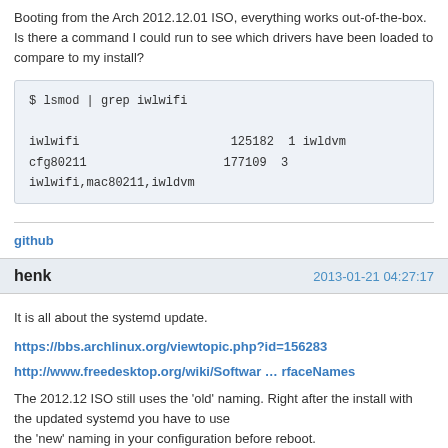Booting from the Arch 2012.12.01 ISO, everything works out-of-the-box. Is there a command I could run to see which drivers have been loaded to compare to my install?
$ lsmod | grep iwlwifi

iwlwifi   125182  1 iwldvm
cfg80211  177109  3 iwlwifi,mac80211,iwldvm
github
henk
2013-01-21 04:27:17
It is all about the systemd update.
https://bbs.archlinux.org/viewtopic.php?id=156283
http://www.freedesktop.org/wiki/Softwar … rfaceNames
The 2012.12 ISO still uses the 'old' naming. Right after the install with the updated systemd you have to use the 'new' naming in your configuration before reboot.
Last edited by henk (2013-01-21 04:32:01)